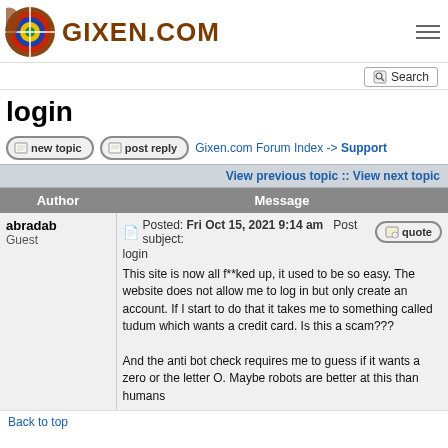GIXEN.COM
Search
login
new topic   post reply   Gixen.com Forum Index -> Support
View previous topic :: View next topic
| Author | Message |
| --- | --- |
| abradab
Guest | Posted: Fri Oct 15, 2021 9:14 am   Post subject: login

This site is now all f**ked up, it used to be so easy. The website does not allow me to log in but only create an account. If I start to do that it takes me to something called tudum which wants a credit card. Is this a scam???

And the anti bot check requires me to guess if it wants a zero or the letter O. Maybe robots are better at this than humans |
Back to top